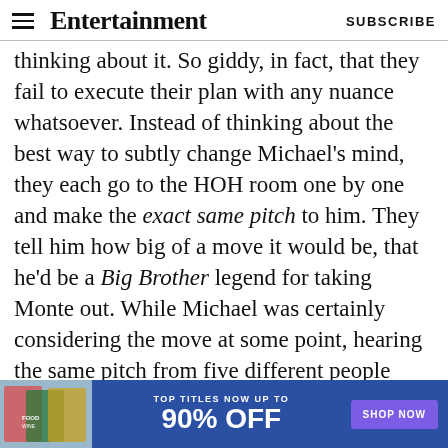Entertainment Weekly — SUBSCRIBE
thinking about it. So giddy, in fact, that they fail to execute their plan with any nuance whatsoever. Instead of thinking about the best way to subtly change Michael's mind, they each go to the HOH room one by one and make the exact same pitch to him. They tell him how big of a move it would be, that he'd be a Big Brother legend for taking Monte out. While Michael was certainly considering the move at some point, hearing the same pitch from five different people makes him suspicious, and he immediately clocks that they're all working together to try and save Daniel. Honestly, half of this house is a solid three steps
[Figure (other): Advertisement banner: Food & Wine magazine covers image on left, blue background with text 'TOP TITLES NOW UP TO 90% OFF' and purple 'SHOP NOW' button on right]